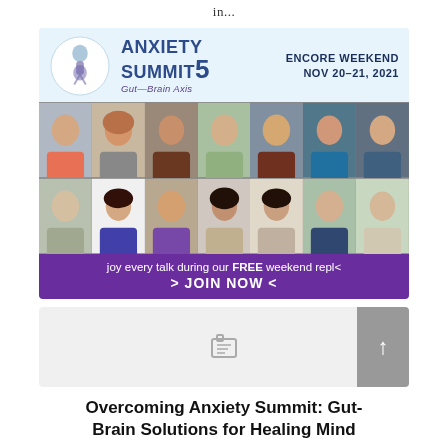in...
[Figure (illustration): Anxiety Summit 5 Gut-Brain Axis promotional banner with ENCORE WEEKEND NOV 20-21, 2021 headline, grid of speaker headshots, and purple CTA bar: 'joy every talk during our FREE weekend replay > JOIN NOW <']
[Figure (other): Gray placeholder banner with folder icon and scroll-up button]
Overcoming Anxiety Summit: Gut-Brain Solutions for Healing Mind